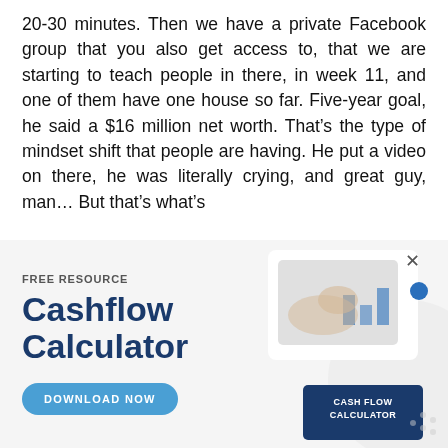20-30 minutes. Then we have a private Facebook group that you also get access to, that we are starting to teach people in there, in week 11, and one of them have one house so far. Five-year goal, he said a $16 million net worth. That's the type of mindset shift that people are having. He put a video on there, he was literally crying, and great guy, man... But that's what's
[Figure (infographic): Advertisement banner for a free resource called 'Cashflow Calculator'. Left side shows 'FREE RESOURCE' label, large bold dark blue text 'Cashflow Calculator', and a teal rounded 'DOWNLOAD NOW' button. Right side shows a photo of hands using a tablet with financial charts visible, and a dark blue card reading 'CASH FLOW CALCULATOR'. A close X and blue dot appear on the right edge.]